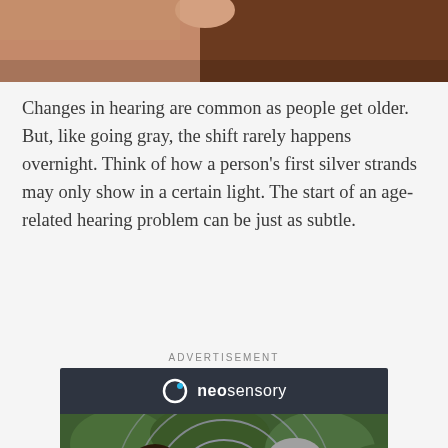[Figure (photo): Close-up photo of a person's hand near their ear, showing skin tones of Black person]
Changes in hearing are common as people get older. But, like going gray, the shift rarely happens overnight. Think of how a person's first silver strands may only show in a certain light. The start of an age-related hearing problem can be just as subtle.
ADVERTISEMENT
[Figure (photo): Neosensory advertisement banner showing logo on dark header and two people (a woman and a gray-haired man) smiling at each other in front of green foliage with circular ring decorations]